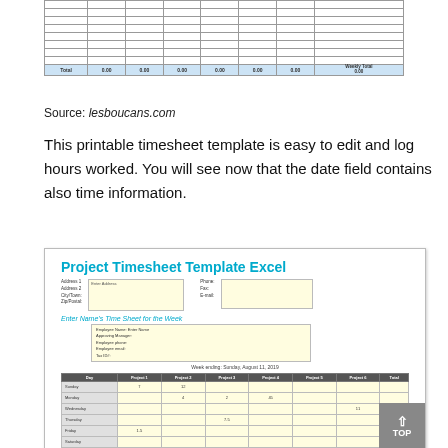[Figure (table-as-image): Partial view of a weekly timesheet table showing empty rows and a Total row at the bottom with values 0.00 across columns and Weekly Total 0.00]
Source: lesboucans.com
This printable timesheet template is easy to edit and log hours worked. You will see now that the date field contains also time information.
[Figure (screenshot): Screenshot of a Project Timesheet Template Excel with address fields, employee info box, week ending date (Sunday, August 11, 2019), and a data table showing days (Sunday through Friday visible) with project columns and hours values like 7, 12, 4, 2, 45, 11, 7.5, 1.5]